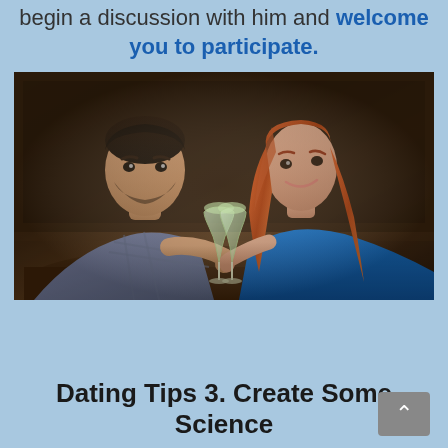begin a discussion with him and welcome you to participate.
[Figure (photo): A man and a woman sitting across from each other at a restaurant table, clinking wine glasses together in a toast. The man is on the left wearing a plaid shirt, and the woman on the right has long red/auburn hair and is wearing a blue dress. Dark wood-paneled background.]
Dating Tips 3. Create Some Science